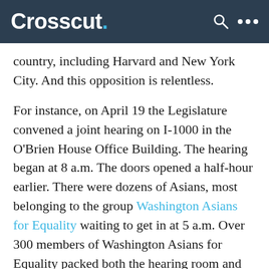Crosscut.
country, including Harvard and New York City. And this opposition is relentless.

For instance, on April 19 the Legislature convened a joint hearing on I-1000 in the O’Brien House Office Building. The hearing began at 8 a.m. The doors opened a half-hour earlier. There were dozens of Asians, most belonging to the group Washington Asians for Equality waiting to get in at 5 a.m. Over 300 members of Washington Asians for Equality packed both the hearing room and the overflow hearing room behind it, on a weekday morning.